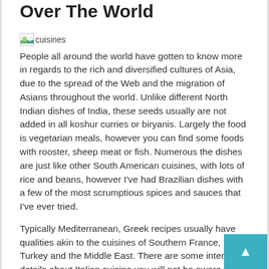Over The World
[Figure (illustration): Broken image placeholder labeled 'cuisines']
People all around the world have gotten to know more in regards to the rich and diversified cultures of Asia, due to the spread of the Web and the migration of Asians throughout the world. Unlike different North Indian dishes of India, these seeds usually are not added in all koshur curries or biryanis. Largely the food is vegetarian meals, however you can find some foods with rooster, sheep meat or fish. Numerous the dishes are just like other South American cuisines, with lots of rice and beans, however I've had Brazilian dishes with a few of the most scrumptious spices and sauces that I've ever tried.
Typically Mediterranean, Greek recipes usually have qualities akin to the cuisines of Southern France, Italy, Turkey and the Middle East. There are some interesting details about Italian cuisine you will not be aware of. It has developed over many centuries and is without doubt one of the most popular and broadly regarded … Read More...